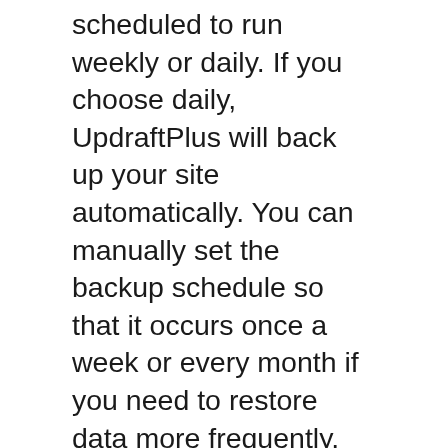scheduled to run weekly or daily. If you choose daily, UpdraftPlus will back up your site automatically. You can manually set the backup schedule so that it occurs once a week or every month if you need to restore data more frequently. However, be aware that this feature may not be suitable for all sites. If you want to protect your content even further, you can upgrade to the paid version.
UpdraftPlus offers many useful features that will make it an integral part of your WordPress backup strategy. You can choose which files you want to restore or upload them to a cloud storage provider. This backup feature is compatible with both external and cloud hard drives. UpdraftPlus